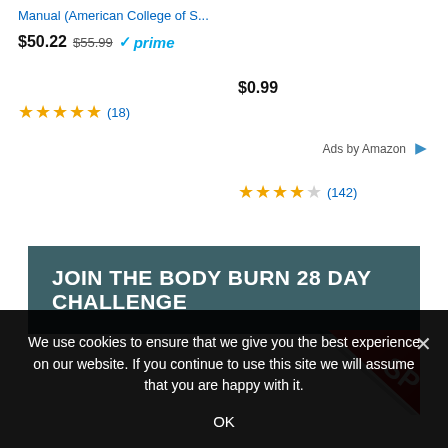Manual (American College of S...
$50.22  $55.99  prime  $0.99
★★★★★ (18)   ★★★★☆ (142)
Ads by Amazon
JOIN THE BODY BURN 28 DAY CHALLENGE
[Figure (other): Red sale corner ribbon/badge partially visible at bottom right]
We use cookies to ensure that we give you the best experience on our website. If you continue to use this site we will assume that you are happy with it.
OK